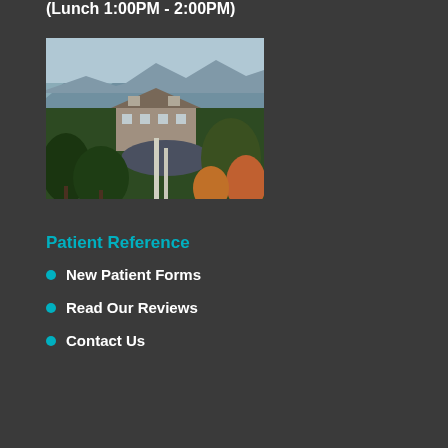(Lunch 1:00PM - 2:00PM)
[Figure (photo): Aerial/elevated view of a medical office building surrounded by trees with mountains in the background, autumn foliage visible]
Patient Reference
New Patient Forms
Read Our Reviews
Contact Us